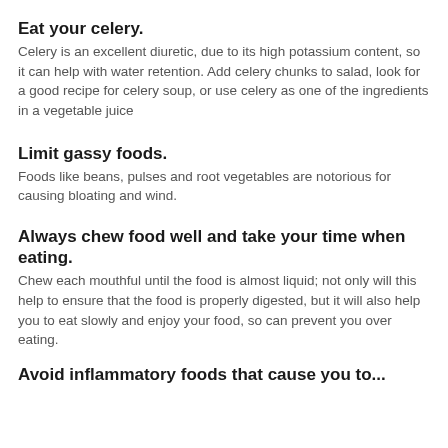Eat your celery.
Celery is an excellent diuretic, due to its high potassium content, so it can help with water retention. Add celery chunks to salad, look for a good recipe for celery soup, or use celery as one of the ingredients in a vegetable juice
Limit gassy foods.
Foods like beans, pulses and root vegetables are notorious for causing bloating and wind.
Always chew food well and take your time when eating.
Chew each mouthful until the food is almost liquid; not only will this help to ensure that the food is properly digested, but it will also help you to eat slowly and enjoy your food, so can prevent you over eating.
Avoid inflammatory foods that cause you to...